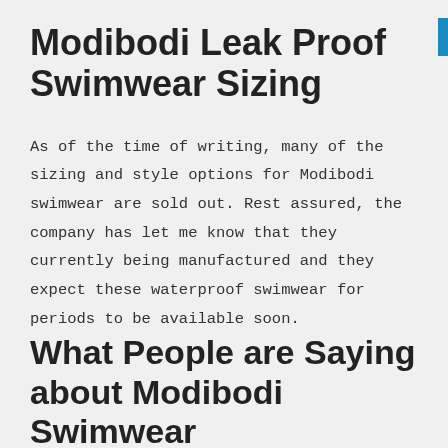Modibodi Leak Proof Swimwear Sizing
As of the time of writing, many of the sizing and style options for Modibodi swimwear are sold out. Rest assured, the company has let me know that they currently being manufactured and they expect these waterproof swimwear for periods to be available soon.
What People are Saying about Modibodi Swimwear